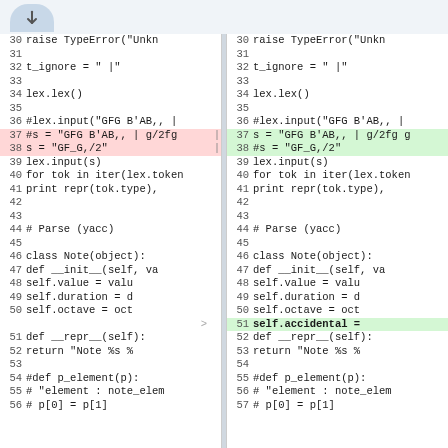[Figure (screenshot): Side-by-side code diff view showing two versions of Python code with highlighted additions (green) and deletions (red). Left panel shows old version, right panel shows new version. Lines 30-56 visible. Key differences: lines 37-38 swapped/changed (red on left, green on right), and line 51 added on right side (green, self.accidental =).]